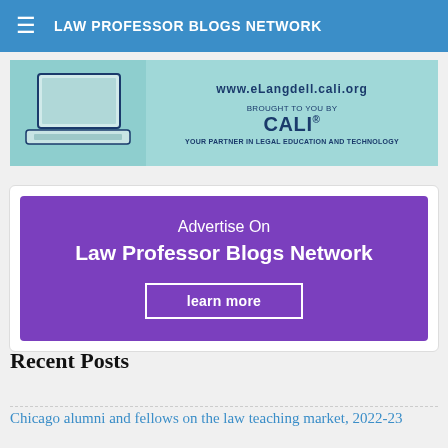LAW PROFESSOR BLOGS NETWORK
[Figure (illustration): CALI banner advertisement showing a laptop graphic, URL www.eLangdell.cali.org, 'Brought to you by CALI' logo, and tagline 'Your partner in legal education and technology']
[Figure (infographic): Purple advertisement box: 'Advertise On Law Professor Blogs Network' with a 'learn more' button]
Recent Posts
Chicago alumni and fellows on the law teaching market, 2022-23